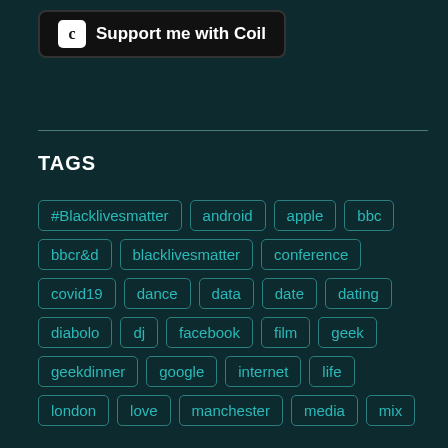[Figure (other): Support me with Coil button with Coil logo icon]
TAGS
#Blacklivesmatter
android
apple
bbc
bbcr&d
blacklivesmatter
conference
covid19
dance
data
date
dating
diabolo
dj
facebook
film
geek
geekdinner
google
internet
life
london
love
manchester
media
mix